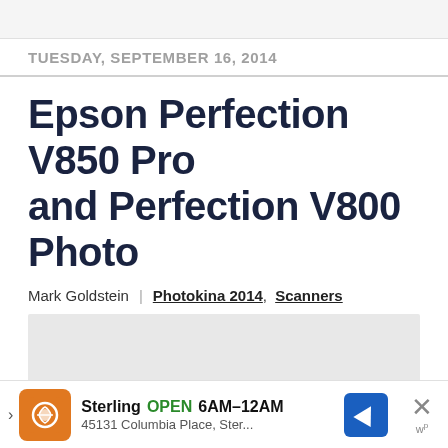TUESDAY, SEPTEMBER 16, 2014
Epson Perfection V850 Pro and Perfection V800 Photo
Mark Goldstein | Photokina 2014 , Scanners
[Figure (other): Gray placeholder image area for article photo]
Sterling OPEN 6AM–12AM 45131 Columbia Place, Ster...